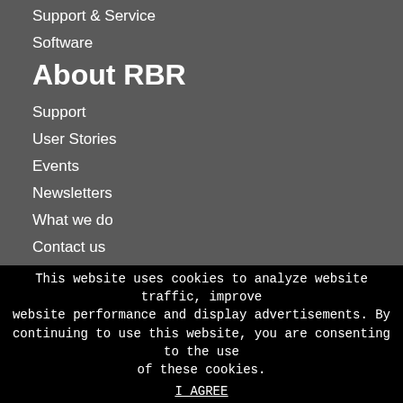Support & Service
Software
About RBR
Support
User Stories
Events
Newsletters
What we do
Contact us
News
Careers
Warranty
This website uses cookies to analyze website traffic, improve website performance and display advertisements. By continuing to use this website, you are consenting to the use of these cookies.
I AGREE